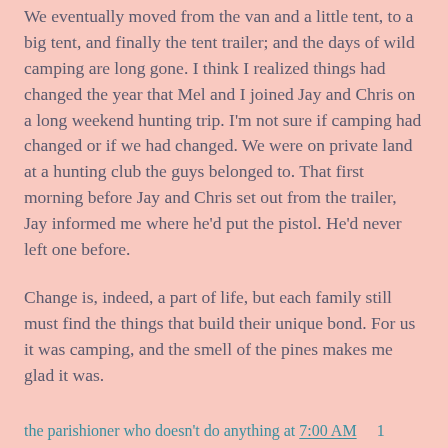We eventually moved from the van and a little tent, to a big tent, and finally the tent trailer; and the days of wild camping are long gone. I think I realized things had changed the year that Mel and I joined Jay and Chris on a long weekend hunting trip. I'm not sure if camping had changed or if we had changed. We were on private land at a hunting club the guys belonged to. That first morning before Jay and Chris set out from the trailer, Jay informed me where he'd put the pistol. He'd never left one before.
Change is, indeed, a part of life, but each family still must find the things that build their unique bond. For us it was camping, and the smell of the pines makes me glad it was.
the parishioner who doesn't do anything at 7:00 AM    1 comment:
Thursday, May 20, 2010
Summer